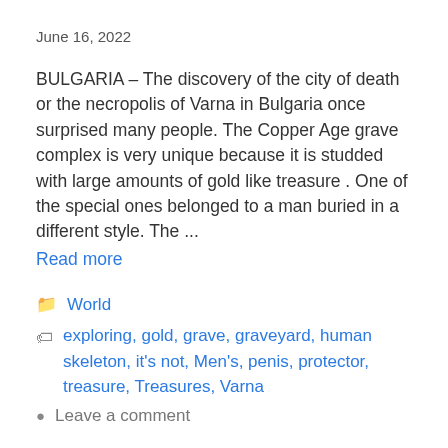June 16, 2022
BULGARIA – The discovery of the city of death or the necropolis of Varna in Bulgaria once surprised many people. The Copper Age grave complex is very unique because it is studded with large amounts of gold like treasure . One of the special ones belonged to a man buried in a different style. The ...
Read more
World
exploring, gold, grave, graveyard, human skeleton, it's not, Men's, penis, protector, treasure, Treasures, Varna
Leave a comment